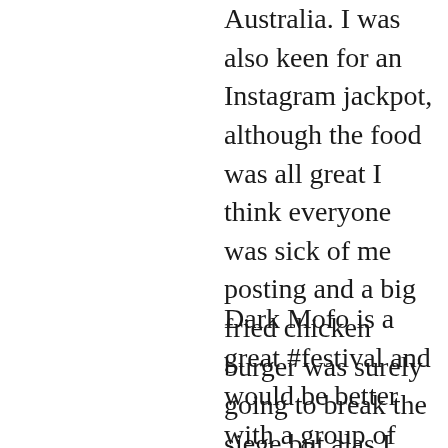Australia. I was also keen for an Instagram jackpot, although the food was all great I think everyone was sick of me posting and a big fried chicken burger was surely going to break the siege but alas I could not even manage a post
Dark Mofo is a great #festival and would be better with a group of friends. Next time I'd Air B & B a place to stay, find a great spot to sit at Winter Feast and indulge all